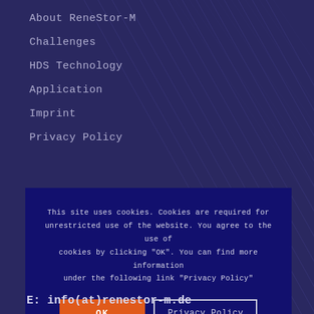About ReneStor-M
Challenges
HDS Technology
Application
Imprint
Privacy Policy
This site uses cookies. Cookies are required for unrestricted use of the website. You agree to the use of cookies by clicking "OK". You can find more information under the following link "Privacy Policy"
OK
Privacy Policy
E: info(at)renestor-m.de